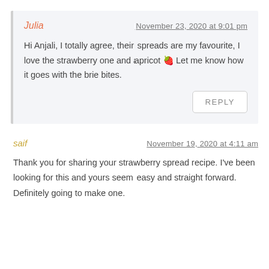Julia — November 23, 2020 at 9:01 pm
Hi Anjali, I totally agree, their spreads are my favourite, I love the strawberry one and apricot 🍓 Let me know how it goes with the brie bites.
REPLY
saif — November 19, 2020 at 4:11 am
Thank you for sharing your strawberry spread recipe. I've been looking for this and yours seem easy and straight forward. Definitely going to make one.